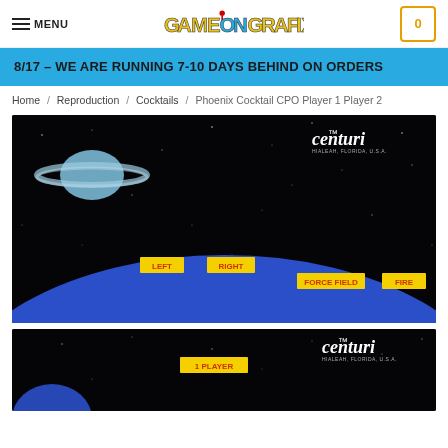MENU | GAME ON GRAFIX | 0
8/17 – WE ARE RUNNING 7-10 DAYS BEHIND ON ORDERS
Home / Reproduction / Cocktails / Phoenix Cocktail CPO Player 1 Player 2
[Figure (photo): Phoenix Cocktail CPO control panel overlay on black background showing a planet and rings in upper left, Centuri logo upper right, with button labels LEFT, RIGHT, FORCE FIELD, FIRE in yellow boxes, and blue planet arc at bottom]
[Figure (photo): Second Phoenix Cocktail CPO variant showing similar space scene with 1 PLAYER button label in yellow box and Centuri logo]